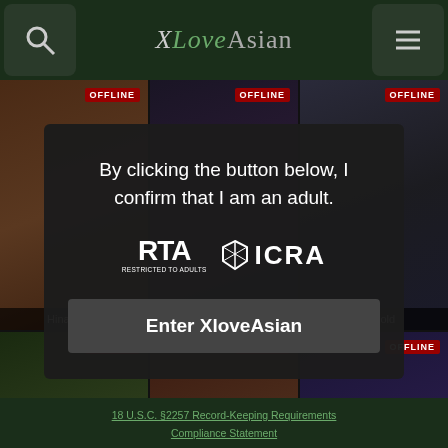XLoveAsian
[Figure (screenshot): Grid of 6 model profile thumbnails, all showing OFFLINE badge. Row 1: HinataBlair, EsmeraldaMooreTS, EvaGold. Row 2: three more models (partially visible).]
By clicking the button below, I confirm that I am an adult.
[Figure (logo): RTA (Restricted to Adults) and ICRA logos side by side]
Enter XloveAsian
18 U.S.C. §2257 Record-Keeping Requirements Compliance Statement